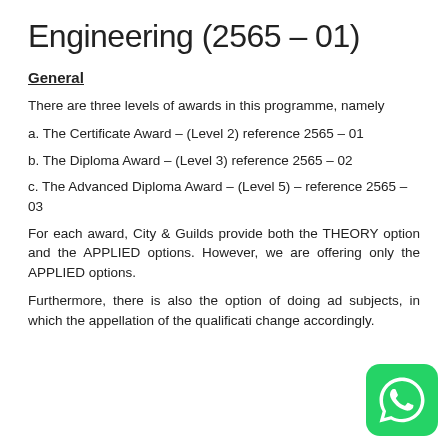Engineering (2565 – 01)
General
There are three levels of awards in this programme, namely
a. The Certificate Award – (Level 2) reference 2565 – 01
b. The Diploma Award – (Level 3) reference 2565 – 02
c. The Advanced Diploma Award – (Level 5) – reference 2565 – 03
For each award, City & Guilds provide both the THEORY option and the APPLIED options. However, we are offering only the APPLIED options.
Furthermore, there is also the option of doing ad subjects, in which the appellation of the qualificati change accordingly.